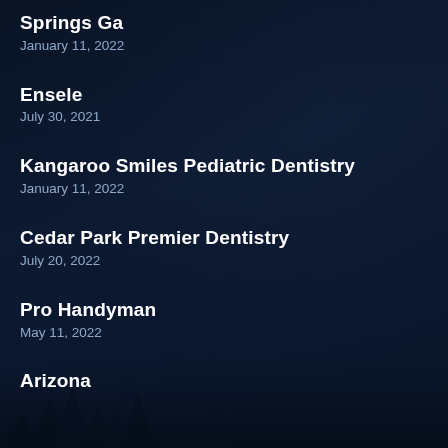Springs Ga
January 11, 2022
Ensele
July 30, 2021
Kangaroo Smiles Pediatric Dentistry
January 11, 2022
Cedar Park Premier Dentistry
July 20, 2022
Pro Handyman
May 11, 2022
Arizona